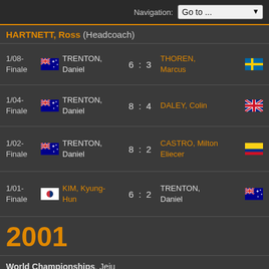Navigation: Go to ...
HARTNETT, Ross (Headcoach)
| Round | Flag | Player | Score | Player | Flag |
| --- | --- | --- | --- | --- | --- |
| 1/08-Finale | AUS | TRENTON, Daniel | 6 : 3 | THOREN, Marcus | SWE |
| 1/04-Finale | AUS | TRENTON, Daniel | 8 : 4 | DALEY, Colin | GBR |
| 1/02-Finale | AUS | TRENTON, Daniel | 8 : 2 | CASTRO, Milton Eliecer | COL |
| 1/01-Finale | KOR | KIM, Kyung-Hun | 6 : 2 | TRENTON, Daniel | AUS |
2001
World Championships, Jeju
-84 senior